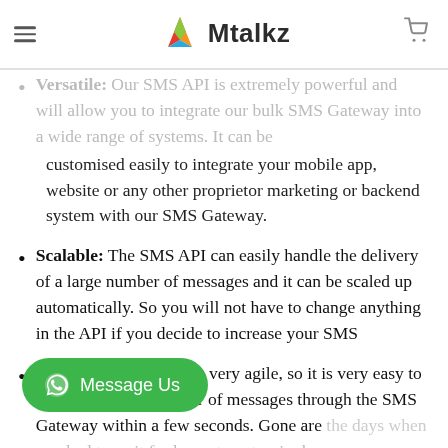Mtalkz
Versatile: Our SMS API is extremely powerful and will allow you to integrate our bulk SMS Gateway into a wide range of systems. It can be customised easily to integrate your mobile app, website or any other proprietor marketing or backend system with our SMS Gateway.
Scalable: The SMS API can easily handle the delivery of a large number of messages and it can be scaled up automatically. So you will not have to change anything in the API if you decide to increase your SMS
Speed: The SMS API is very agile, so it is very easy to send out a large number of messages through the SMS Gateway within a few seconds. Gone are the days when you had to wait for hours to get a single message delivered. Our SMS API can handle thousands of messages through